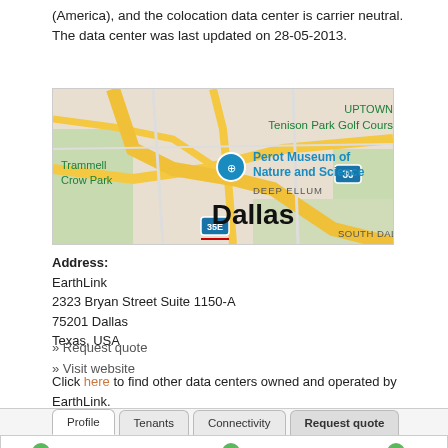(America), and the colocation data center is carrier neutral. The data center was last updated on 28-05-2013.
[Figure (map): Google-style street map showing Dallas area with landmarks: Tenison Park Golf Course, Perot Museum of Nature and Science, Trammell Crow Park, Deep Ellum, South Dallas. Highways 30 and 35E marked. 'Dallas' label in large black text at center.]
Address:
EarthLink
2323 Bryan Street Suite 1150-A
75201 Dallas
Texas, USA
» Request quote
» Visit website
Click here to find other data centers owned and operated by EarthLink.
Profile | Tenants | Connectivity | Request quote (tabs)
Office space
Rack Cabinets
D...
Suites
Footprints
V...